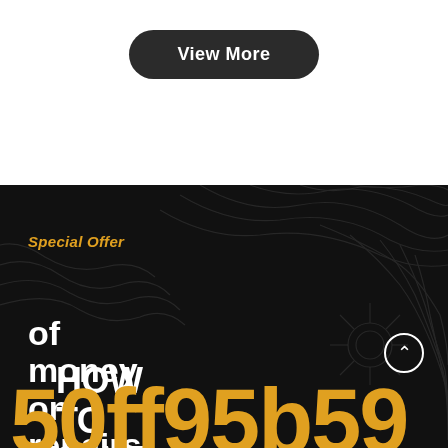[Figure (other): Dark rounded rectangle button labeled 'View More' on white background]
View More
[Figure (other): Dark background section with topographic/circuit decorative pattern, containing promotional text about special offer for auto repairs]
Special Offer
HOW TO SAVE
of money on repairs
50ff95b59